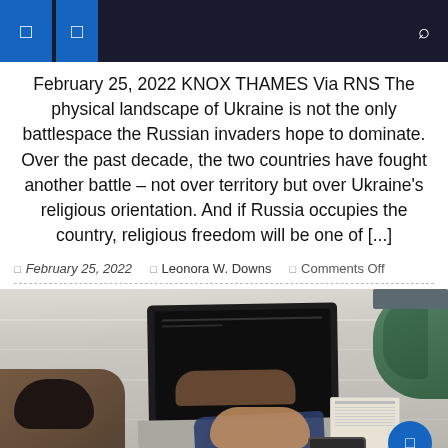Navigation bar with menu icons and search
February 25, 2022 KNOX THAMES Via RNS The physical landscape of Ukraine is not the only battlespace the Russian invaders hope to dominate. Over the past decade, the two countries have fought another battle – not over territory but over Ukraine's religious orientation. And if Russia occupies the country, religious freedom will be one of [...]
February 25, 2022  Leonora W. Downs  Comments Off
[Figure (photo): Overhead view of a person working on a laptop at a white wood-grain table, with another person's head visible on the left, a notebook and phone to the right, and green plants in the upper right corner. A blue circle button appears in the lower right.]